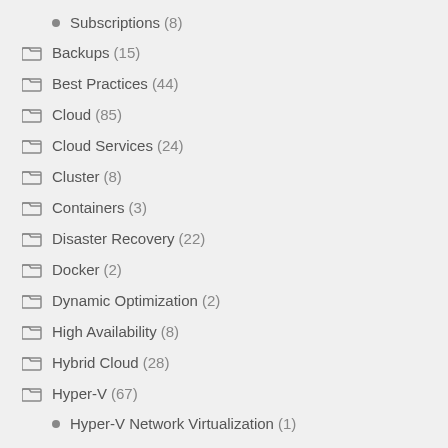Subscriptions (8)
Backups (15)
Best Practices (44)
Cloud (85)
Cloud Services (24)
Cluster (8)
Containers (3)
Disaster Recovery (22)
Docker (2)
Dynamic Optimization (2)
High Availability (8)
Hybrid Cloud (28)
Hyper-V (67)
Hyper-V Network Virtualization (1)